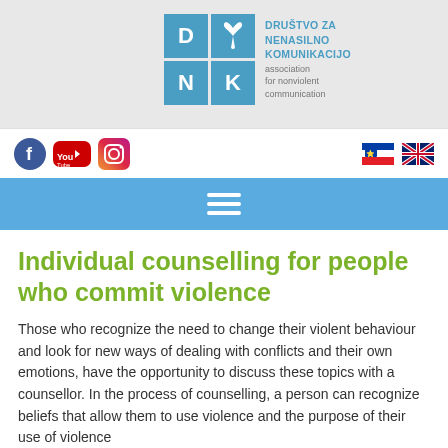[Figure (logo): DNK logo - Društvo za nenasilno komunikacijo / association for nonviolent communication, with a 2x2 blue grid of tiles and text]
[Figure (infographic): Social media icons: Facebook (blue circle), YouTube (red rounded square), Instagram (gradient square); flag icons for Slovenia and UK]
[Figure (infographic): Blue navigation bar with hamburger menu icon (three white horizontal lines)]
Individual counselling for people who commit violence
Those who recognize the need to change their violent behaviour and look for new ways of dealing with conflicts and their own emotions, have the opportunity to discuss these topics with a counsellor. In the process of counselling, a person can recognize beliefs that allow them to use violence and the purpose of their use of violence